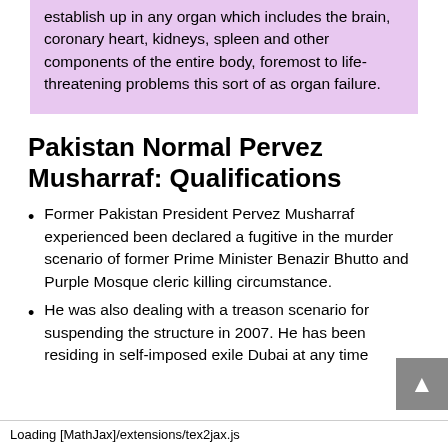establish up in any organ which includes the brain, coronary heart, kidneys, spleen and other components of the entire body, foremost to life-threatening problems this sort of as organ failure.
Pakistan Normal Pervez Musharraf: Qualifications
Former Pakistan President Pervez Musharraf experienced been declared a fugitive in the murder scenario of former Prime Minister Benazir Bhutto and Purple Mosque cleric killing circumstance.
He was also dealing with a treason scenario for suspending the structure in 2007. He has been residing in self-imposed exile Dubai at any time
Loading [MathJax]/extensions/tex2jax.js